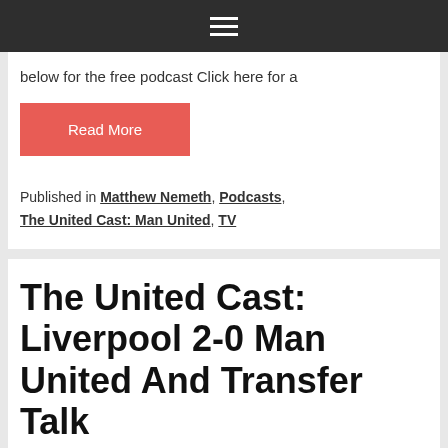☰
below for the free podcast Click here for a
Read More
Published in Matthew Nemeth, Podcasts, The United Cast: Man United, TV
The United Cast: Liverpool 2-0 Man United And Transfer Talk